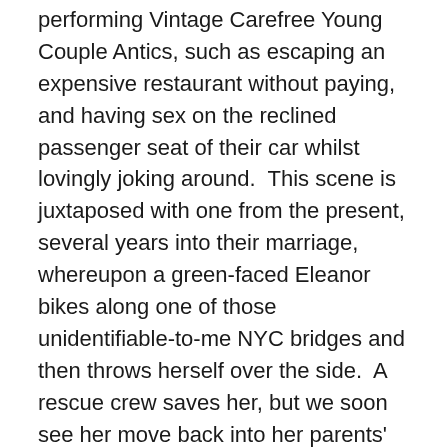performing Vintage Carefree Young Couple Antics, such as escaping an expensive restaurant without paying, and having sex on the reclined passenger seat of their car whilst lovingly joking around.  This scene is juxtaposed with one from the present, several years into their marriage, whereupon a green-faced Eleanor bikes along one of those unidentifiable-to-me NYC bridges and then throws herself over the side.  A rescue crew saves her, but we soon see her move back into her parents' house in suburban Connecticut with a near-catatonic personality.  None of her family members – sister Katy (Jess Weixler), mother Mary (Isabelle Huppert), and father Julian (William Hurt) – know how to address her, or even what to talk to her about.  Connor is not involved.  We do not know what happened to make Eleanor try to end her own life, nor what has separated the couple.  The film goes to great lengths to hide this information, going so far as to have